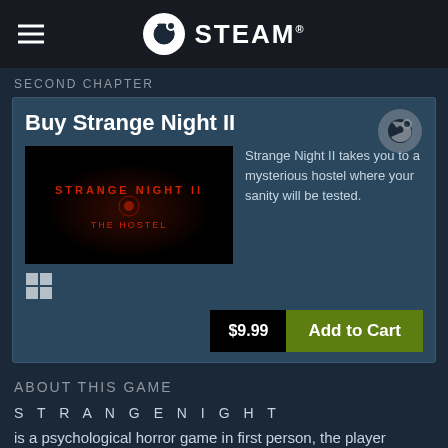STEAM®
SECOND CHAPTER
Buy Strange Night II
[Figure (screenshot): Strange Night II: The Hostel game cover art — dark background with red text]
Strange Night II takes you to a mysterious hostel where your sanity will be tested.
$9.99  Add to Cart
ABOUT THIS GAME
S T R A N G E N I G H T
is a psychological horror game in first person, the player controls cameras monitoring, and need to make periodic rounds.